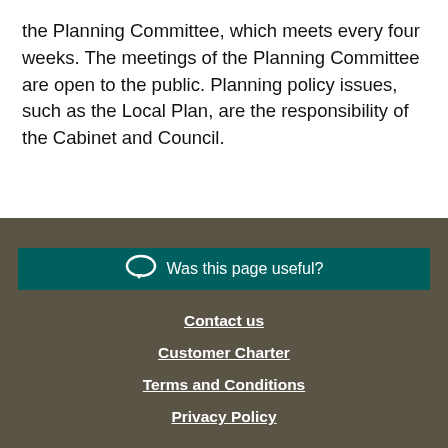the Planning Committee, which meets every four weeks. The meetings of the Planning Committee are open to the public. Planning policy issues, such as the Local Plan, are the responsibility of the Cabinet and Council.
Was this page useful? | Contact us | Customer Charter | Terms and Conditions | Privacy Policy